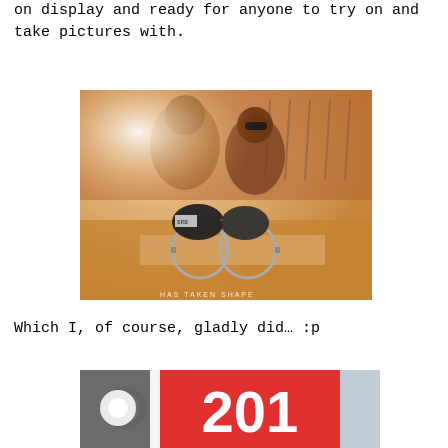on display and ready for anyone to try on and take pictures with.
[Figure (photo): Photo of two people on a beach with sunglasses on display in front of them, Ray-Ban promotional display with glasses including round frames and sunglasses, text 'HAS TAKEN SHAPE' at bottom]
Which I, of course, gladly did… :p
[Figure (photo): Partial photo showing a red background with the number '201' visible in white, a light source on the left, and a blue/grey angled card on the right]